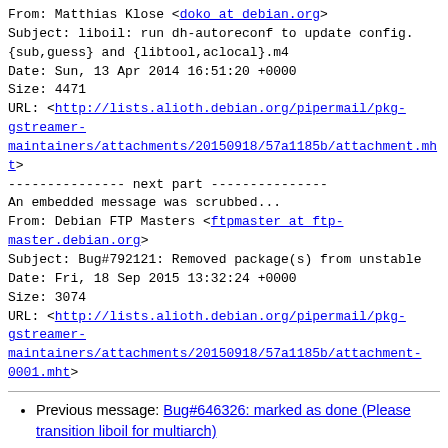From: Matthias Klose <doko at debian.org>
Subject: liboil: run dh-autoreconf to update config.
{sub,guess} and {libtool,aclocal}.m4
Date: Sun, 13 Apr 2014 16:51:20 +0000
Size: 4471
URL: <http://lists.alioth.debian.org/pipermail/pkg-gstreamer-maintainers/attachments/20150918/57a1185b/attachment.mht>
--------------- next part ---------------
An embedded message was scrubbed...
From: Debian FTP Masters <ftpmaster at ftp-master.debian.org>
Subject: Bug#792121: Removed package(s) from unstable
Date: Fri, 18 Sep 2015 13:32:24 +0000
Size: 3074
URL: <http://lists.alioth.debian.org/pipermail/pkg-gstreamer-maintainers/attachments/20150918/57a1185b/attachment-0001.mht>
Previous message: Bug#646326: marked as done (Please transition liboil for multiarch)
Next message: Bug#745241: marked as done (liboil: FTBFS on ppc64: OIL: ERROR liboiltest.c 405: oil_test_check_impl(): function merge_linear_argb_powerpc in class merge_linear_argb failed check (3.64226e+10 > 0) || (outside=0))